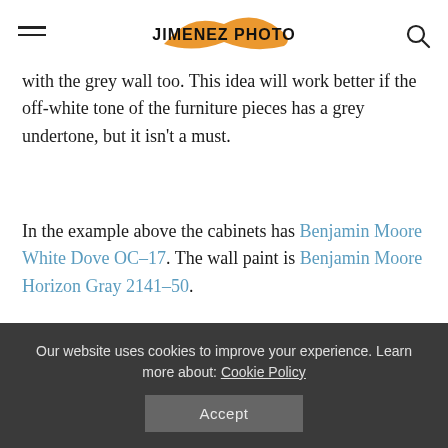JIMENEZ PHOTO
with the grey wall too. This idea will work better if the off-white tone of the furniture pieces has a grey undertone, but it isn't a must.
In the example above the cabinets has Benjamin Moore White Dove OC–17. The wall paint is Benjamin Moore Horizon Gray 2141–50.
15. Off–White Kitchen Cabinet and
Our website uses cookies to improve your experience. Learn more about: Cookie Policy